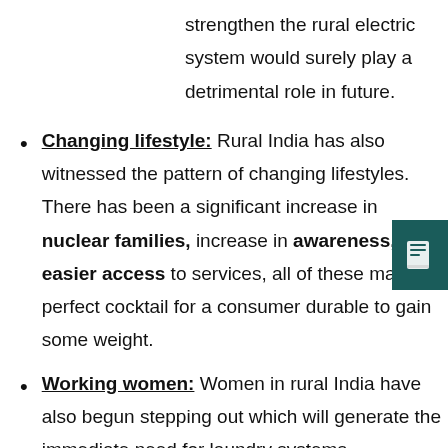strengthen the rural electric system would surely play a detrimental role in future.
Changing lifestyle: Rural India has also witnessed the pattern of changing lifestyles. There has been a significant increase in nuclear families, increase in awareness, and easier access to services, all of these makes a perfect cocktail for a consumer durable to gain some weight.
Working women: Women in rural India have also begun stepping out which will generate the immediate need for laundry systems.